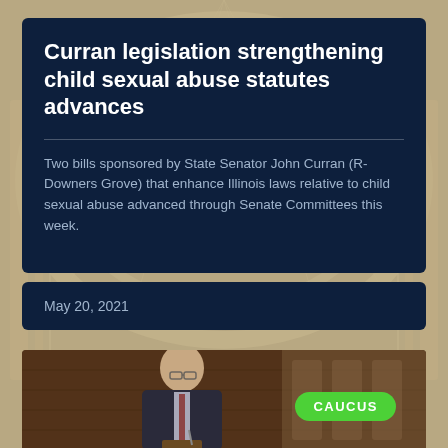Curran legislation strengthening child sexual abuse statutes advances
Two bills sponsored by State Senator John Curran (R-Downers Grove) that enhance Illinois laws relative to child sexual abuse advanced through Senate Committees this week.
May 20, 2021
[Figure (photo): Photo of Senator John Curran speaking at a podium in the Illinois Senate chamber. He is wearing a dark suit and glasses. A green 'CAUCUS' badge overlays the top right of the image.]